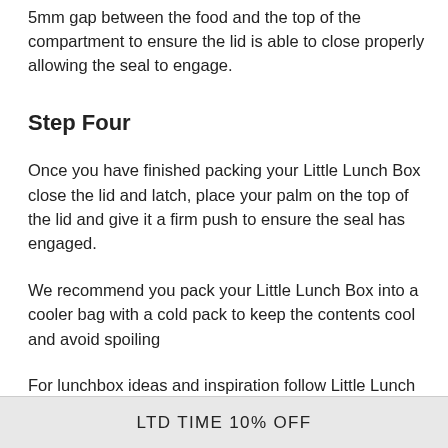5mm gap between the food and the top of the compartment to ensure the lid is able to close properly allowing the seal to engage.
Step Four
Once you have finished packing your Little Lunch Box close the lid and latch, place your palm on the top of the lid and give it a firm push to ensure the seal has engaged.
We recommend you pack your Little Lunch Box into a cooler bag with a cold pack to keep the contents cool and avoid spoiling
For lunchbox ideas and inspiration follow Little Lunch Box Co on Facebook and Instagram or browse our hashtag #littlelunchbox
LTD TIME 10% OFF